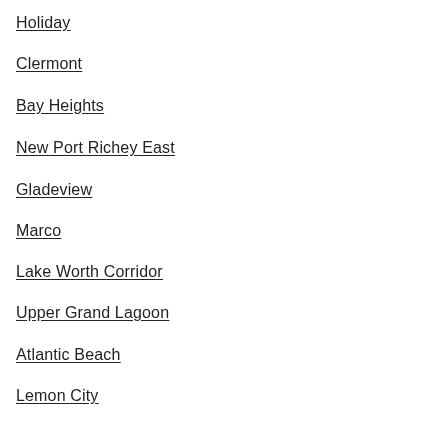Holiday
Clermont
Bay Heights
New Port Richey East
Gladeview
Marco
Lake Worth Corridor
Upper Grand Lagoon
Atlantic Beach
Lemon City